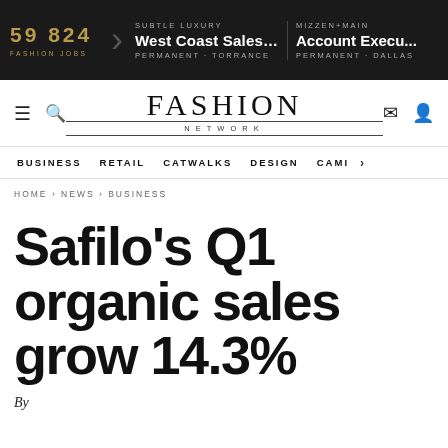59 824 FASHION JOBS | SUBTLE LUXURY West Coast Sales Repr... PERMANENT - TORRANCE | MIZZEN+MAIN Account Execu... PERMANENT - DALLAS
[Figure (logo): Fashion Network logo with hamburger menu, search, mail, and user icons]
BUSINESS  RETAIL  CATWALKS  DESIGN  CAMI  >
HOME › NEWS › BUSINESS
Safilo's Q1 organic sales grow 14.3%
By